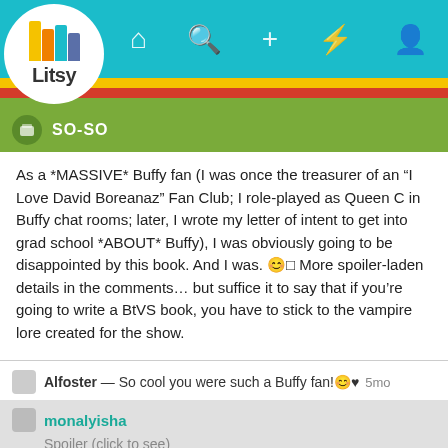[Figure (screenshot): Litsy app logo with colorful book spine stack icon and the word 'Litsy' below]
[Figure (screenshot): Litsy app navigation bar with home, search, add, activity, and profile icons on teal background]
SO-SO
As a *MASSIVE* Buffy fan (I was once the treasurer of an “I Love David Boreanaz” Fan Club; I role-played as Queen C in Buffy chat rooms; later, I wrote my letter of intent to get into grad school *ABOUT* Buffy), I was obviously going to be disappointed by this book. And I was. 😊□ More spoiler-laden details in the comments… but suffice it to say that if you’re going to write a BtVS book, you have to stick to the vampire lore created for the show.
Alfoster — So cool you were such a Buffy fan!😊♥   5mo
monalyisha
Spoiler (click to see)